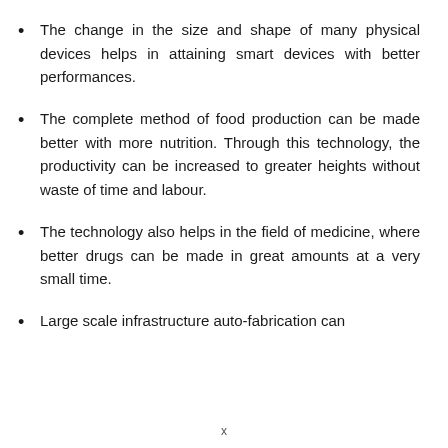The change in the size and shape of many physical devices helps in attaining smart devices with better performances.
The complete method of food production can be made better with more nutrition. Through this technology, the productivity can be increased to greater heights without waste of time and labour.
The technology also helps in the field of medicine, where better drugs can be made in great amounts at a very small time.
Large scale infrastructure auto-fabrication can